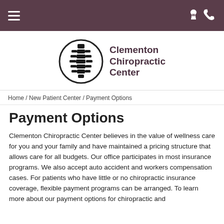Clementon Chiropractic Center — navigation header with hamburger menu and phone icon
[Figure (logo): Clementon Chiropractic Center logo: circular spine illustration with text 'Clementon Chiropractic Center']
Home / New Patient Center / Payment Options
Payment Options
Clementon Chiropractic Center believes in the value of wellness care for you and your family and have maintained a pricing structure that allows care for all budgets. Our office participates in most insurance programs. We also accept auto accident and workers compensation cases. For patients who have little or no chiropractic insurance coverage, flexible payment programs can be arranged. To learn more about our payment options for chiropractic and